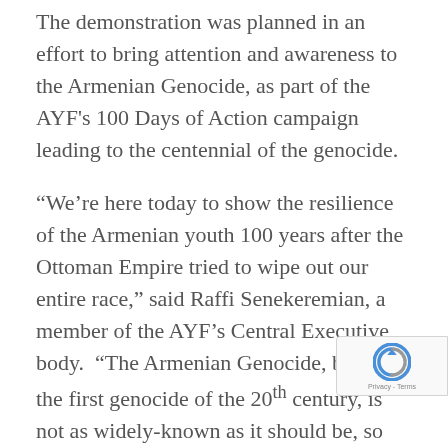The demonstration was planned in an effort to bring attention and awareness to the Armenian Genocide, as part of the AYF's 100 Days of Action campaign leading to the centennial of the genocide.
“We’re here today to show the resilience of the Armenian youth 100 years after the Ottoman Empire tried to wipe out our entire race,” said Raffi Senekeremian, a member of the AYF’s Central Executive body.  “The Armenian Genocide, being the first genocide of the 20th century, is not as widely-known as it should be, so we’re here trying to raise awareness on the issue in an active part of our city.”
Demonstrators simultaneously collapsed to the ground in the sudden-death act despite the rainy weather, as the number of people invited the...